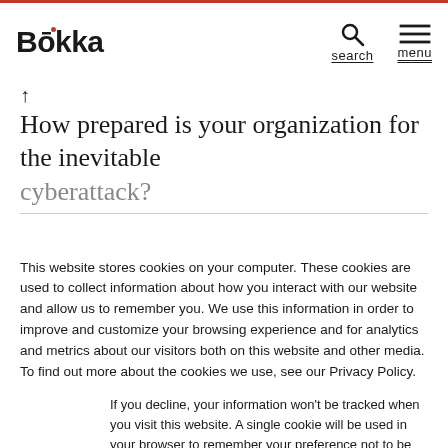Bokka  search  menu
How prepared is your organization for the inevitable
This website stores cookies on your computer. These cookies are used to collect information about how you interact with our website and allow us to remember you. We use this information in order to improve and customize your browsing experience and for analytics and metrics about our visitors both on this website and other media. To find out more about the cookies we use, see our Privacy Policy.
If you decline, your information won't be tracked when you visit this website. A single cookie will be used in your browser to remember your preference not to be tracked.